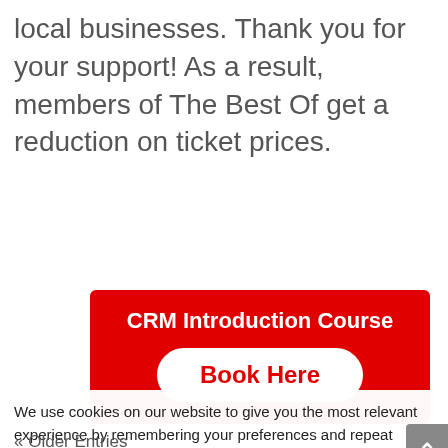local businesses. Thank you for your support! As a result, members of The Best Of get a reduction on ticket prices.
[Figure (other): Red promotional banner for CRM Introduction Course with a 'Book Here' button]
We use cookies on our website to give you the most relevant experience by remembering your preferences and repeat visits. By clicking "Accept", you consent to the use of ALL the cookies. However you may visit Cookie Settings to provide a controlled consent.
Cookie settings
ACCEPT
« Older Entries